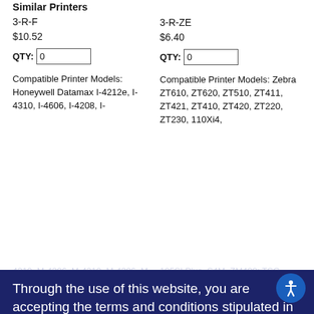Similar Printers
3-R-F
$10.52
QTY: 0
Compatible Printer Models: Honeywell Datamax I-4212e, I-4310, I-4606, I-4208, I-4210, M-4206, M-4210, M-4306, M-4212; Intermec...
3-R-ZE
$6.40
QTY: 0
Compatible Printer Models: Zebra ZT610, ZT620, ZT510, ZT411, ZT421, ZT410, ZT420, ZT220, ZT230, 110Xi4, 105SLPlus, S4M, ZM400; TSC TX200, TX300...
Through the use of this website, you are accepting the terms and conditions stipulated in our Privacy Policy and our use of cookies.
Accept